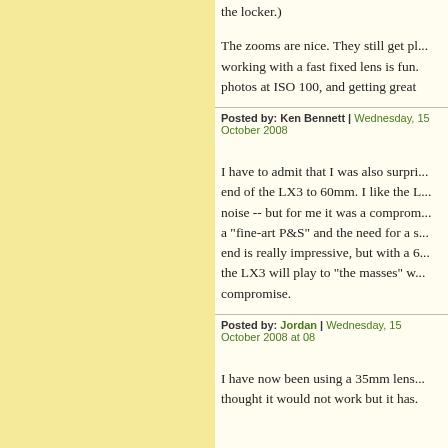the locker.)
The zooms are nice. They still get pl... working with a fast fixed lens is fun. photos at ISO 100, and getting great
Posted by: Ken Bennett | Wednesday, 15 October 2008
I have to admit that I was also surpri... end of the LX3 to 60mm. I like the L... noise -- but for me it was a comprom... a "fine-art P&S" and the need for a s... end is really impressive, but with a 6... the LX3 will play to "the masses" w... compromise.
Posted by: Jordan | Wednesday, 15 October 2008 at 08
I have now been using a 35mm lens... thought it would not work but it has.